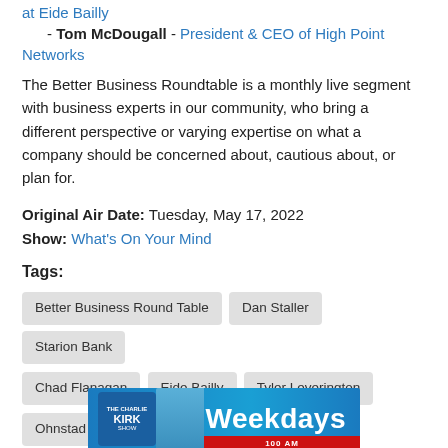- Tom McDougall - President & CEO of High Point Networks
The Better Business Roundtable is a monthly live segment with business experts in our community, who bring a different perspective or varying expertise on what a company should be concerned about, cautious about, or plan for.
Original Air Date: Tuesday, May 17, 2022
Show: What's On Your Mind
Tags:
Better Business Round Table | Dan Staller | Starion Bank | Chad Flanagan | Eide Bailly | Tyler Leverington | Ohnstad Twichell Law Firm | Tom McDougall | High Point Networks | What's On Your Mind | Scott Hennen
[Figure (photo): Charlie Kirk Show advertisement banner with 'Weekdays' text and a person photo]